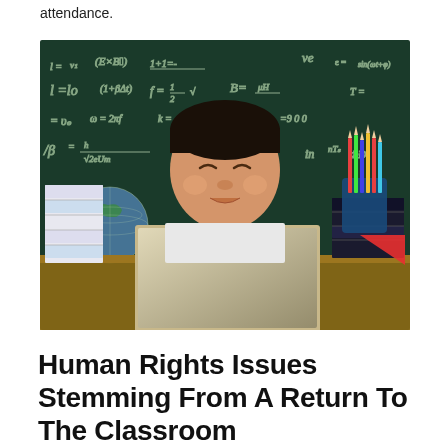attendance.
[Figure (photo): Young Asian boy sitting at a desk in front of an open laptop, with a chalkboard covered in math equations behind him, books stacked on either side, and a pencil holder with colored pencils to his right. A globe is visible on the left.]
Human Rights Issues Stemming From A Return To The Classroom